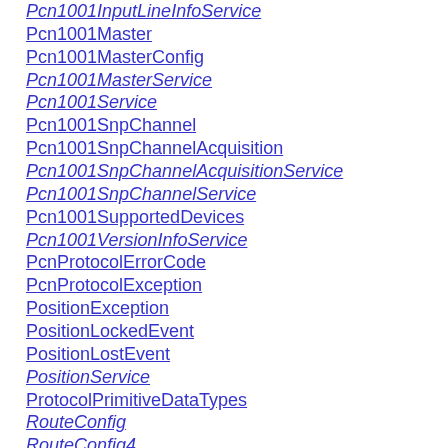Pcn1001InputLineInfoService
Pcn1001Master
Pcn1001MasterConfig
Pcn1001MasterService
Pcn1001Service
Pcn1001SnpChannel
Pcn1001SnpChannelAcquisition
Pcn1001SnpChannelAcquisitionService
Pcn1001SnpChannelService
Pcn1001SupportedDevices
Pcn1001VersionInfoService
PcnProtocolErrorCode
PcnProtocolException
PositionException
PositionLockedEvent
PositionLostEvent
PositionService
ProtocolPrimitiveDataTypes
RouteConfig
RouteConfig4
RouteConfig6
RouteConfigIP
RouteConfigIP4
RouteConfigIP6
RoutingAgentService
Scalar
SelfConfiguringComponent
SerialModemDevice
SerManager